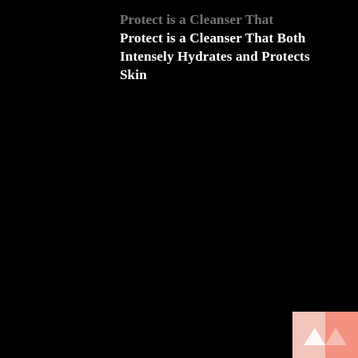Protect is a Cleanser That Both Intensely Hydrates and Protects Skin
[Figure (logo): Pink and salmon colored logo with upward chevron/arrow mark on black background, bottom right corner]